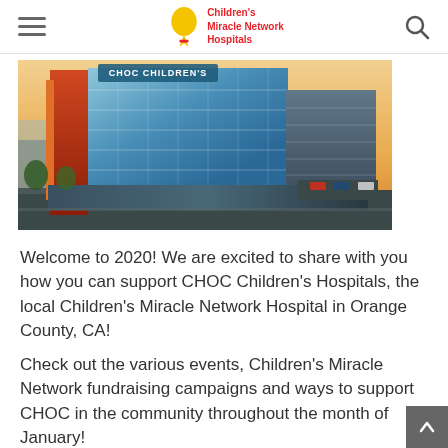Children's Miracle Network Hospitals
[Figure (photo): Aerial view of CHOC Children's Hospital building in Orange County, CA — a large modern glass and red-panel medical facility]
Welcome to 2020! We are excited to share with you how you can support CHOC Children's Hospitals, the local Children's Miracle Network Hospital in Orange County, CA!
Check out the various events, Children's Miracle Network fundraising campaigns and ways to support CHOC in the community throughout the month of January!